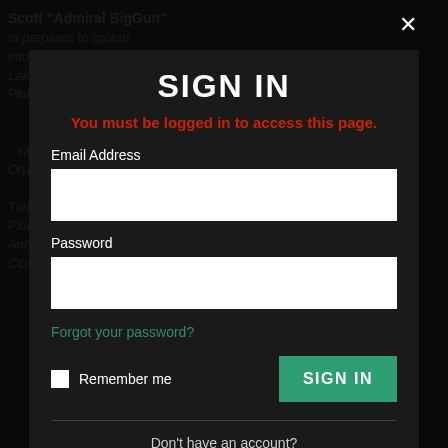[Figure (screenshot): Background news article text visible behind the sign-in modal overlay. Contains text about Scott 'Admiral BigGun' preparing to splash into the Crystal-Inlot Otter Tail Lake at the Feb. 5 Polar Plunge, Pelican Rapids native raising funds for Special Olympics, and Viking Tim Backstrom led the 'Purple Plungers' team at the third Annual event. COURTESY SHEILA HANSON.]
SIGN IN
You must be logged in to access this page.
Email Address
Password
Forgot your password?
Remember me
SIGN IN
Don't have an account?
SUBSCRIBE NOW!